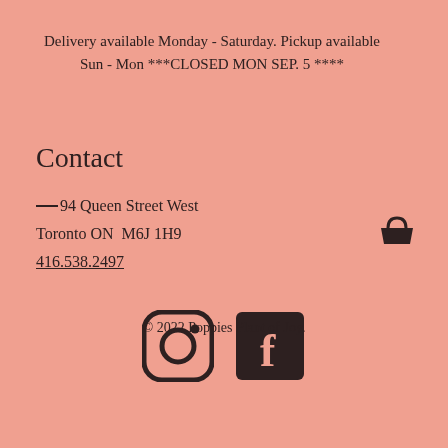Delivery available Monday - Saturday. Pickup available Sun - Mon ***CLOSED MON SEP. 5 ****
Contact
1094 Queen Street West
Toronto ON  M6J 1H9
416.538.2497
[Figure (other): Shopping basket icon in dark brown]
[Figure (other): Instagram and Facebook social media icons in dark brown]
© 2022 Poppies Plant of Joy.